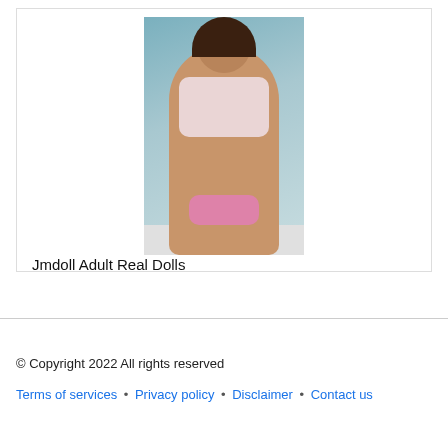[Figure (photo): A photo of a female figure posing on a bed, used as product image for adult doll product listing.]
Jmdoll Adult Real Dolls
© Copyright 2022 All rights reserved
Terms of services • Privacy policy • Disclaimer • Contact us